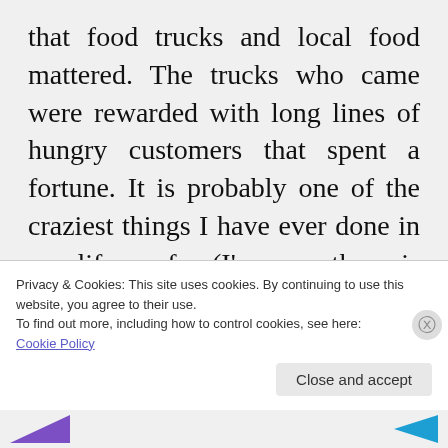that food trucks and local food mattered. The trucks who came were rewarded with long lines of hungry customers that spent a fortune. It is probably one of the craziest things I have ever done in my life so far (I'm sure there is more to come though).

After that day, Bem Bom contacted me when they were featured on Eat Street
Privacy & Cookies: This site uses cookies. By continuing to use this website, you agree to their use.
To find out more, including how to control cookies, see here:
Cookie Policy